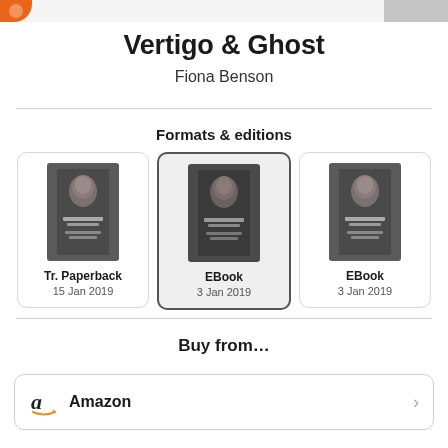Vertigo & Ghost
Fiona Benson
Formats & editions
[Figure (illustration): Three book edition cards showing covers of Vertigo & Ghost by Fiona Benson. Left: Tr. Paperback, 15 Jan 2019. Middle (selected): EBook, 3 Jan 2019. Right: EBook, 3 Jan 2019.]
Buy from...
Amazon